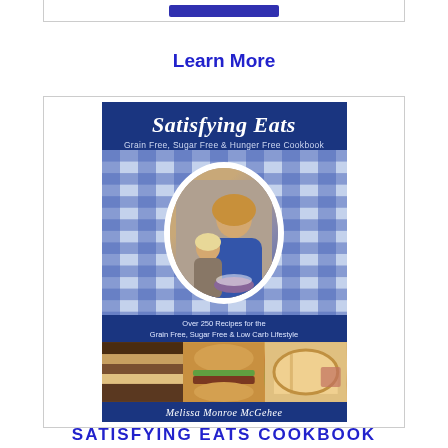[Figure (other): Top border box with a blue button/bar inside]
Learn More
[Figure (photo): Book cover of 'Satisfying Eats: Grain Free, Sugar Free & Hunger Free Cookbook' by Melissa Monroe McGehee. Cover shows a woman and child with a blue plaid background, with food photos at the bottom including tiramisu, burger, and bread.]
SATISFYING EATS COOKBOOK